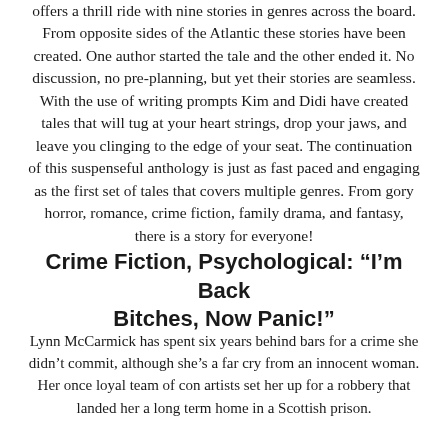offers a thrill ride with nine stories in genres across the board. From opposite sides of the Atlantic these stories have been created. One author started the tale and the other ended it. No discussion, no pre-planning, but yet their stories are seamless. With the use of writing prompts Kim and Didi have created tales that will tug at your heart strings, drop your jaws, and leave you clinging to the edge of your seat. The continuation of this suspenseful anthology is just as fast paced and engaging as the first set of tales that covers multiple genres. From gory horror, romance, crime fiction, family drama, and fantasy, there is a story for everyone!
Crime Fiction, Psychological: “I’m Back Bitches, Now Panic!”
Lynn McCarmick has spent six years behind bars for a crime she didn’t commit, although she’s a far cry from an innocent woman. Her once loyal team of con artists set her up for a robbery that landed her a long term home in a Scottish prison.